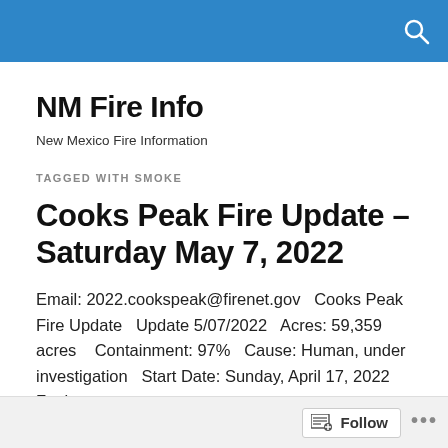NM Fire Info [header bar with search icon]
NM Fire Info
New Mexico Fire Information
TAGGED WITH SMOKE
Cooks Peak Fire Update – Saturday May 7, 2022
Email: 2022.cookspeak@firenet.gov  Cooks Peak Fire Update  Update 5/07/2022  Acres: 59,359 acres   Containment: 97%  Cause: Human, under investigation  Start Date: Sunday, April 17, 2022  Fuels:
Follow ...